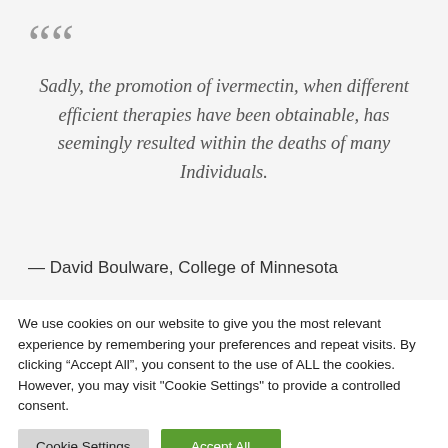““ Sadly, the promotion of ivermectin, when different efficient therapies have been obtainable, has seemingly resulted within the deaths of many Individuals.
— David Boulware, College of Minnesota
We use cookies on our website to give you the most relevant experience by remembering your preferences and repeat visits. By clicking “Accept All”, you consent to the use of ALL the cookies. However, you may visit "Cookie Settings" to provide a controlled consent.